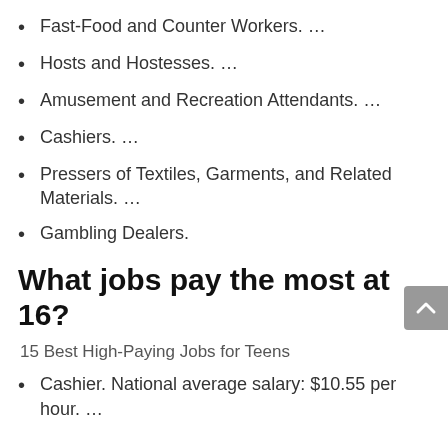Fast-Food and Counter Workers. …
Hosts and Hostesses. …
Amusement and Recreation Attendants. …
Cashiers. …
Pressers of Textiles, Garments, and Related Materials. …
Gambling Dealers.
What jobs pay the most at 16?
15 Best High-Paying Jobs for Teens
Cashier. National average salary: $10.55 per hour. …